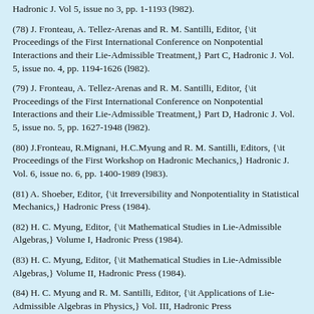Hadronic J. Vol 5, issue no 3, pp. 1-1193 (l982).
(78) J. Fronteau, A. Tellez-Arenas and R. M. Santilli, Editor, {\it Proceedings of the First International Conference on Nonpotential Interactions and their Lie-Admissible Treatment,} Part C, Hadronic J. Vol. 5, issue no. 4, pp. 1194-1626 (l982).
(79) J. Fronteau, A. Tellez-Arenas and R. M. Santilli, Editor, {\it Proceedings of the First International Conference on Nonpotential Interactions and their Lie-Admissible Treatment,} Part D, Hadronic J. Vol. 5, issue no. 5, pp. 1627-1948 (l982).
(80) J.Fronteau, R.Mignani, H.C.Myung and R. M. Santilli, Editors, {\it Proceedings of the First Workshop on Hadronic Mechanics,} Hadronic J. Vol. 6, issue no. 6, pp. 1400-1989 (l983).
(81) A. Shoeber, Editor, {\it Irreversibility and Nonpotentiality in Statistical Mechanics,} Hadronic Press (1984).
(82) H. C. Myung, Editor, {\it Mathematical Studies in Lie-Admissible Algebras,} Volume I, Hadronic Press (1984).
(83) H. C. Myung, Editor, {\it Mathematical Studies in Lie-Admissible Algebras,} Volume II, Hadronic Press (1984).
(84) H. C. Myung and R. M. Santilli, Editor, {\it Applications of Lie-Admissible Algebras in Physics,} Vol. III, Hadronic Press...